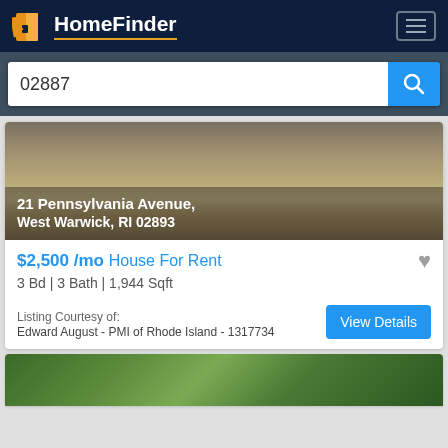HomeFinder
02887
[Figure (photo): Property photo showing a driveway and grassy area]
21 Pennsylvania Avenue, West Warwick, RI 02893
$2,500 /mo House For Rent
3 Bd | 3 Bath | 1,944 Sqft
Listing Courtesy of:
Edward August - PMI of Rhode Island - 1317734
[Figure (photo): Partial view of second property listing showing trees against a blue sky]